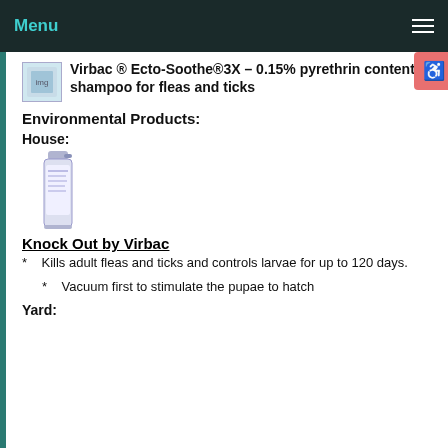Menu
Virbac ® Ecto-Soothe®3X – 0.15% pyrethrin content – shampoo for fleas and ticks
Environmental Products:
House:
[Figure (photo): Knock Out by Virbac spray can product image]
Knock Out by Virbac
*    Kills adult fleas and ticks and controls larvae for up to 120 days.
*    Vacuum first to stimulate the pupae to hatch
Yard: